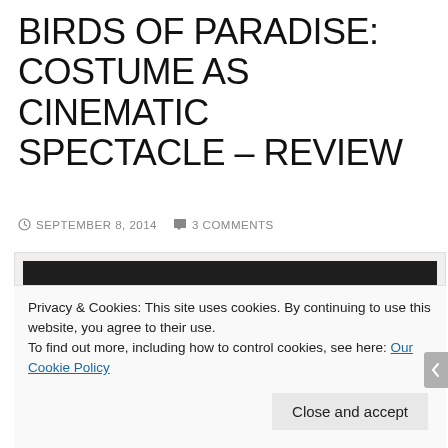BIRDS OF PARADISE: COSTUME AS CINEMATIC SPECTACLE – REVIEW
SEPTEMBER 8, 2014   3 COMMENTS
[Figure (photo): Close-up photograph of colorful bird of paradise plumage with dark background, showing feathers in blue, pink, and cream tones]
Privacy & Cookies: This site uses cookies. By continuing to use this website, you agree to their use.
To find out more, including how to control cookies, see here: Our Cookie Policy
Close and accept